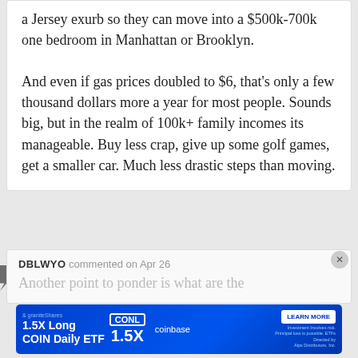a Jersey exurb so they can move into a $500k-700k one bedroom in Manhattan or Brooklyn.
And even if gas prices doubled to $6, that's only a few thousand dollars more a year for most people. Sounds big, but in the realm of 100k+ family incomes its manageable. Buy less crap, give up some golf games, get a smaller car. Much less drastic steps than moving.
DBLWYO commented on Apr 26
Another point to ponder is what are the
[Figure (other): Advertisement banner: GraniteShares - 1.5X Long COIN Daily ETF | CONL 1.5X | coinbase | LEARN MORE button | Investment involves risk. Principal loss is possible. ETFs Directed by Alps Distributors, Inc.]